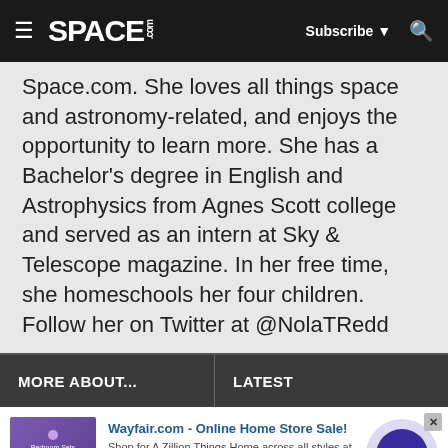≡ SPACE.com  Subscribe ▼  🔍
Space.com. She loves all things space and astronomy-related, and enjoys the opportunity to learn more. She has a Bachelor's degree in English and Astrophysics from Agnes Scott college and served as an intern at Sky & Telescope magazine. In her free time, she homeschools her four children. Follow her on Twitter at @NolaTRedd
MORE ABOUT...
LATEST
Wayfair.com - Online Home Store Sale! Shop for A Zillion Things Home across all styles at Wayfair! www.wayfair.com